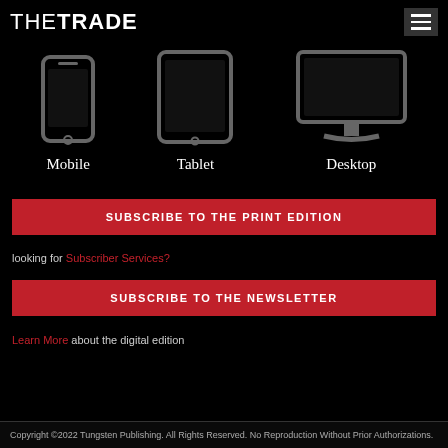THETRADE
[Figure (illustration): Three device icons (smartphone, tablet, desktop monitor) in gray on black background, labeled Mobile, Tablet, Desktop]
SUBSCRIBE TO THE PRINT EDITION
looking for Subscriber Services?
SUBSCRIBE TO THE NEWSLETTER
Learn More about the digital edition
Copyright ©2022 Tungsten Publishing. All Rights Reserved. No Reproduction Without Prior Authorizations.